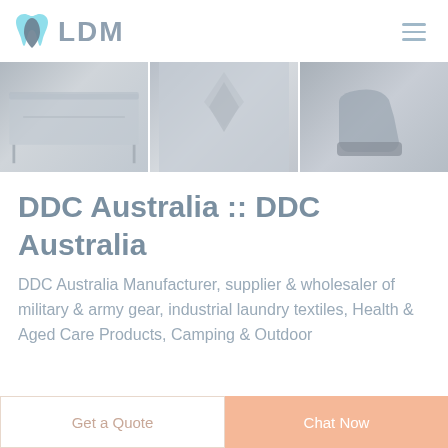LDM
[Figure (photo): Three product images side by side: a military/camping bed frame, a fabric/textile material, and a work boot/safety shoe]
DDC Australia :: DDC Australia
DDC Australia Manufacturer, supplier & wholesaler of military & army gear, industrial laundry textiles, Health & Aged Care Products, Camping & Outdoor